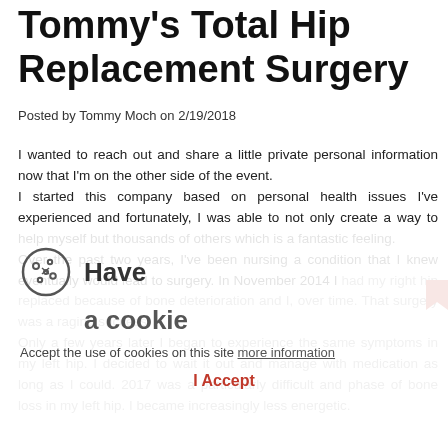Tommy's Total Hip Replacement Surgery
Posted by Tommy Moch on 2/19/2018
I wanted to reach out and share a little private personal information now that I'm on the other side of the event.
I started this company based on personal health issues I've experienced and fortunately, I was able to not only create a way to help myself but thousands of others which is a fantastic feeling.
Over the past two years, I've been nursing a condition that I knew eventually would lead to surgery. In November 2014 I had my right hip replaced because of bone deterioration and I, over time. That surgery was a raging success!
Only a few years later I began to experience the same symptoms in my left hip. I decided to wait it out and manage with medication as long as I could. 2017 was a particularly difficult and phase of bone loss in my left hip. I became increasingly less energetic.
By the beginning of November 2017, I was beginning to spend
Have a cookie
Accept the use of cookies on this site more information
I Accept